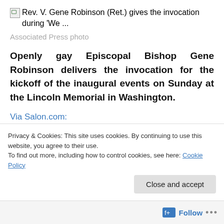[Figure (photo): Broken image placeholder with alt text: Rev. V. Gene Robinson (Ret.) gives the invocation during 'We ...']
Associated Press photo
Openly gay Episcopal Bishop Gene Robinson delivers the invocation for the kickoff of the inaugural events on Sunday at the Lincoln Memorial in Washington.
Via Salon.com:
O God of our many understandings, we pray that you
Privacy & Cookies: This site uses cookies. By continuing to use this website, you agree to their use.
To find out more, including how to control cookies, see here: Cookie Policy
Close and accept
Follow ...